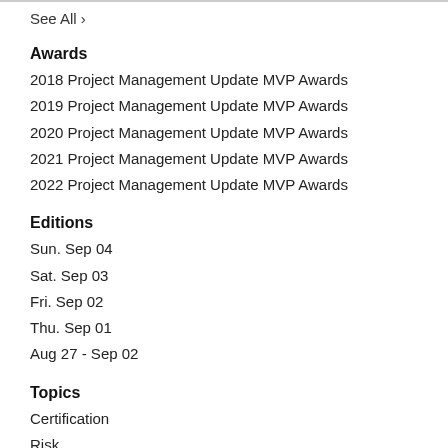See All ›
Awards
2018 Project Management Update MVP Awards
2019 Project Management Update MVP Awards
2020 Project Management Update MVP Awards
2021 Project Management Update MVP Awards
2022 Project Management Update MVP Awards
Editions
Sun. Sep 04
Sat. Sep 03
Fri. Sep 02
Thu. Sep 01
Aug 27 - Sep 02
Topics
Certification
Risk
Strategy
Leadership
Process